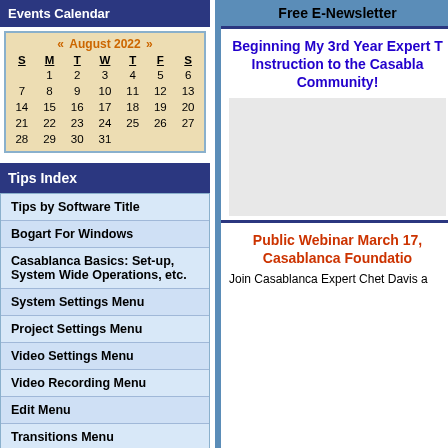Events Calendar
[Figure (other): August 2022 calendar widget with days S M T W T F S and dates 1-31]
Tips Index
Tips by Software Title
Bogart For Windows
Casablanca Basics: Set-up, System Wide Operations, etc.
System Settings Menu
Project Settings Menu
Video Settings Menu
Video Recording Menu
Edit Menu
Transitions Menu
Titling Menu
Image Processing Menu
Audio Record & Edit Menu
Audio Mix Menu
Finish Menu
Free E-Newsletter
Beginning My 3rd Year Expert T Instruction to the Casabla Community!
Public Webinar March 17, Casablanca Foundatio
Join Casablanca Expert Chet Davis a